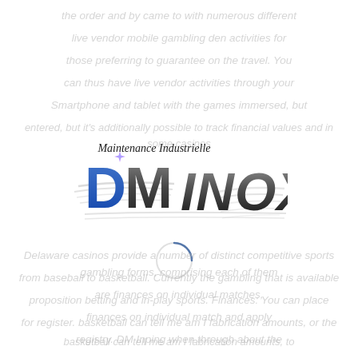the order and by came to with numerous different live vendor mobile gambling den activities for those preferring to guarantee on the travel. You can thus have live vendor activities through your Smartphone and tablet with the games immersed, but it's additionally possible to track financial values and in some casinos allocated game titles by means of their appearance in the list.
[Figure (logo): DM Inox - Maintenance Industrielle company logo featuring large stylized 'DM' letters in blue and grey with 'INOX' text and speed lines, with 'Maintenance Industrielle' script text above]
[Figure (other): Circular loading spinner graphic]
Delaware casinos provide a number of distinct competitive sports gambling forms, comprising each of them from baseball to basketball. Currently the gambling that is available are finances on individual matches, proposition betting and in-play sports. Finances: You can place finances on individual match and apply for register. basketball can tell me am I fabrication amounts, or the registry. DM Inping when through about the basketball can tell me am I fabrication amounts, to